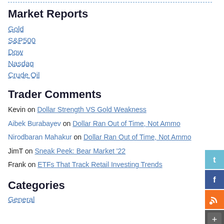Market Reports
Gold
S&P500
Dow
Nasdaq
Crude Oil
Trader Comments
Kevin on Dollar Strength VS Gold Weakness
Aibek Burabayev on Dollar Ran Out of Time, Not Ammo
Nirodbaran Mahakur on Dollar Ran Out of Time, Not Ammo
JimT on Sneak Peek: Bear Market '22
Frank on ETFs That Track Retail Investing Trends
Categories
General